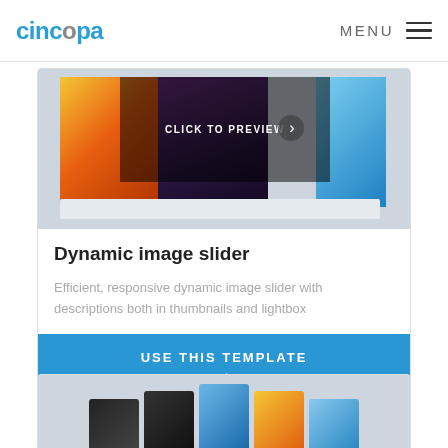[Figure (screenshot): Cincopa website header with logo and hamburger menu]
[Figure (screenshot): Dynamic image slider preview showing flower, dark, and blue images with CLICK TO PREVIEW overlay]
Dynamic image slider
Efficient, responsive dynamic image slider with descriptions both in thumbnails and lightbox
USE THIS TEMPLATE →
[Figure (screenshot): Second card stub showing image fan/gallery preview at bottom of page]